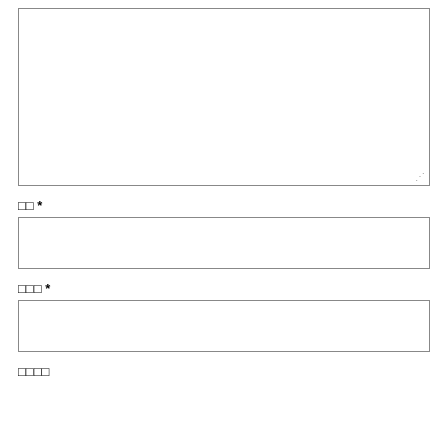[Figure (other): Large empty text area input box with resize handle at bottom-right corner]
□□ *
[Figure (other): Medium empty text area input box]
□□□ *
[Figure (other): Medium empty text area input box]
□□□□